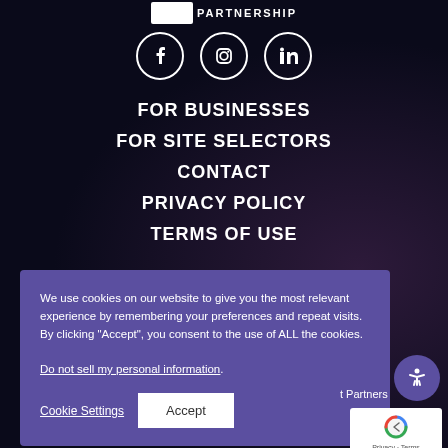[Figure (logo): Partial partnership logo with white rectangle and PARTNERSHIP text]
[Figure (other): Social media icons: Facebook, Instagram, LinkedIn in circular borders]
FOR BUSINESSES
FOR SITE SELECTORS
CONTACT
PRIVACY POLICY
TERMS OF USE
We use cookies on our website to give you the most relevant experience by remembering your preferences and repeat visits. By clicking “Accept”, you consent to the use of ALL the cookies. Do not sell my personal information.
Cookie Settings | Accept
t Partners